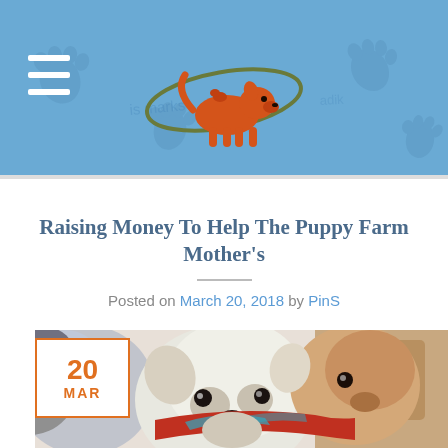[Figure (illustration): Website header with blue background, paw print watermarks, hamburger menu icon on left, orange dog logo in center]
Raising Money To Help The Puppy Farm Mother’s
Posted on March 20, 2018 by PinS
[Figure (photo): Close-up photo of two small dogs (chihuahuas), one white and one brown/tan, with a date badge overlay showing '20 MAR' in orange]